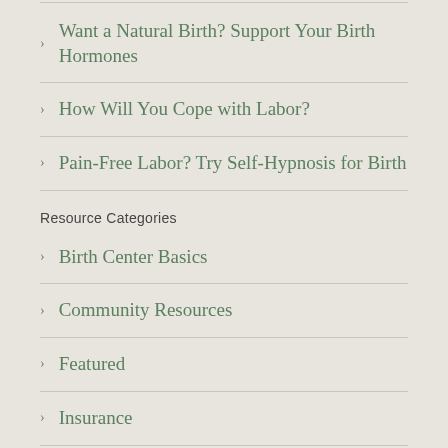Want a Natural Birth? Support Your Birth Hormones
How Will You Cope with Labor?
Pain-Free Labor? Try Self-Hypnosis for Birth
Resource Categories
Birth Center Basics
Community Resources
Featured
Insurance
Labor